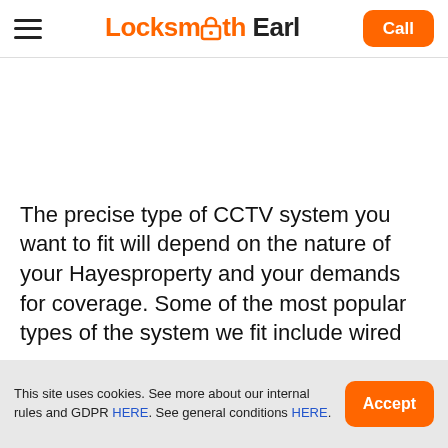Locksmith Earl | Call
The precise type of CCTV system you want to fit will depend on the nature of your Hayesproperty and your demands for coverage. Some of the most popular types of the system we fit include wired
This site uses cookies. See more about our internal rules and GDPR HERE. See general conditions HERE.